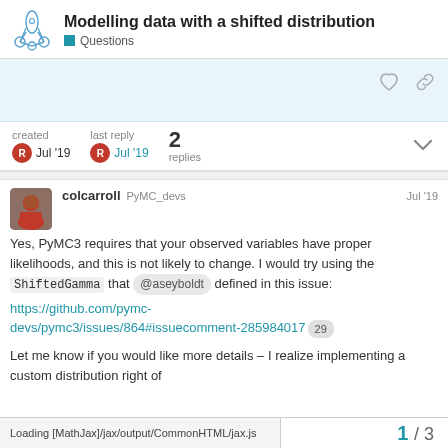Modelling data with a shifted distribution
Questions
created Jul '19  last reply Jul '19  2 replies
colcarroll  PyMC_devs  Jul '19
Yes, PyMC3 requires that your observed variables have proper likelihoods, and this is not likely to change. I would try using the ShiftedGamma that @aseyboldt defined in this issue: https://github.com/pymc-devs/pymc3/issues/864#issuecomment-285984017 29
Let me know if you would like more details – I realize implementing a custom distribution right of
Loading [MathJax]/jax/output/CommonHTML/jax.js   1 / 3